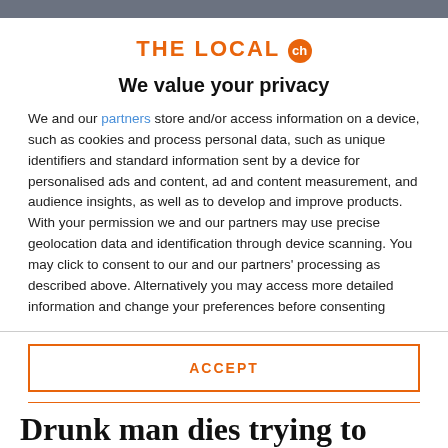THE LOCAL ch
We value your privacy
We and our partners store and/or access information on a device, such as cookies and process personal data, such as unique identifiers and standard information sent by a device for personalised ads and content, ad and content measurement, and audience insights, as well as to develop and improve products. With your permission we and our partners may use precise geolocation data and identification through device scanning. You may click to consent to our and our partners' processing as described above. Alternatively you may access more detailed information and change your preferences before consenting
ACCEPT
MORE OPTIONS
Drunk man dies trying to